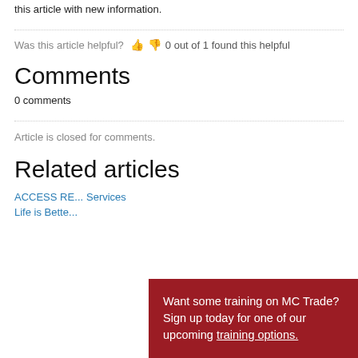this article with new information.
Was this article helpful?   0 out of 1 found this helpful
Comments
0 comments
Article is closed for comments.
Related articles
ACCESS RE... Services
Life is Bette...
Want some training on MC Trade? Sign up today for one of our upcoming training options.